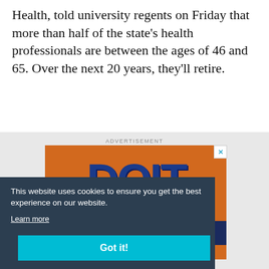Health, told university regents on Friday that more than half of the state's health professionals are between the ages of 46 and 65. Over the next 20 years, they'll retire.
[Figure (screenshot): Advertisement section with DOIT logo on orange background, partially obscured by a cookie consent overlay. The ad reads 'Diverse Organizational Improvement Training' and '4 Institutional Pillars for Transformation (IPTs)'. A cookie consent banner reads 'This website uses cookies to ensure you get the best experience on our website. Learn more' with a 'Got it!' button.]